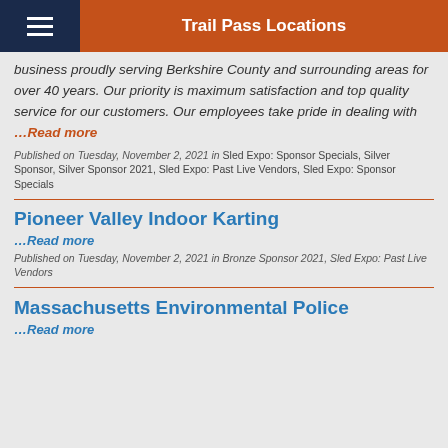Trail Pass Locations
business proudly serving Berkshire County and surrounding areas for over 40 years. Our priority is maximum satisfaction and top quality service for our customers. Our employees take pride in dealing with …Read more
Published on Tuesday, November 2, 2021 in Sled Expo: Sponsor Specials, Silver Sponsor, Silver Sponsor 2021, Sled Expo: Past Live Vendors, Sled Expo: Sponsor Specials
Pioneer Valley Indoor Karting
…Read more
Published on Tuesday, November 2, 2021 in Bronze Sponsor 2021, Sled Expo: Past Live Vendors
Massachusetts Environmental Police
…Read more